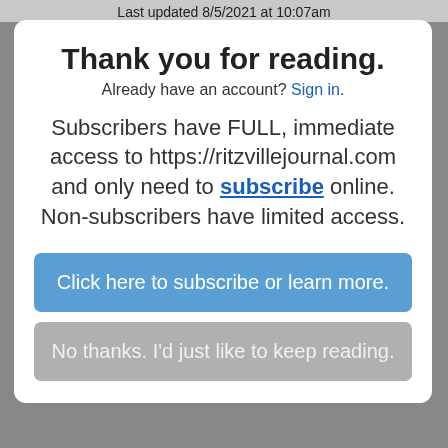Last updated 8/5/2021 at 10:07am
Thank you for reading.
Already have an account? Sign in.
Subscribers have FULL, immediate access to https://ritzvillejournal.com and only need to subscribe online. Non-subscribers have limited access.
Click here to subscribe or learn more.
No thanks. I'd just like to keep reading.